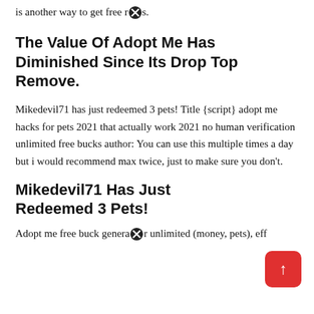is another way to get free r✖s.
The Value Of Adopt Me Has Diminished Since Its Drop Top Remove.
Mikedevil71 has just redeemed 3 pets! Title {script} adopt me hacks for pets 2021 that actually work 2021 no human verification unlimited free bucks author: You can use this multiple times a day but i would recommend max twice, just to make sure you don't.
Mikedevil71 Has Just Redeemed 3 Pets!
Adopt me free buck generator unlimited (money, pets), eff